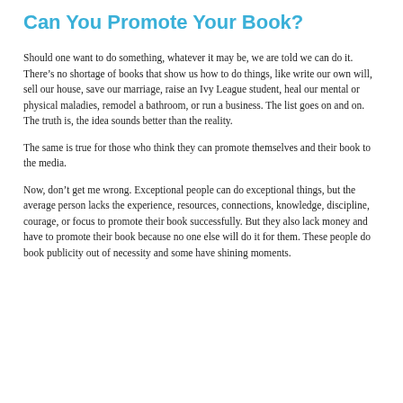Can You Promote Your Book?
Should one want to do something, whatever it may be, we are told we can do it.  There’s no shortage of books that show us how to do things, like write our own will, sell our house, save our marriage, raise an Ivy League student, heal our mental or physical maladies, remodel a bathroom, or run a business.  The list goes on and on.  The truth is, the idea sounds better than the reality.
The same is true for those who think they can promote themselves and their book to the media.
Now, don’t get me wrong.  Exceptional people can do exceptional things, but the average person lacks the experience, resources, connections, knowledge, discipline, courage, or focus to promote their book successfully.  But they also lack money and have to promote their book because no one else will do it for them.  These people do book publicity out of necessity and some have shining moments.